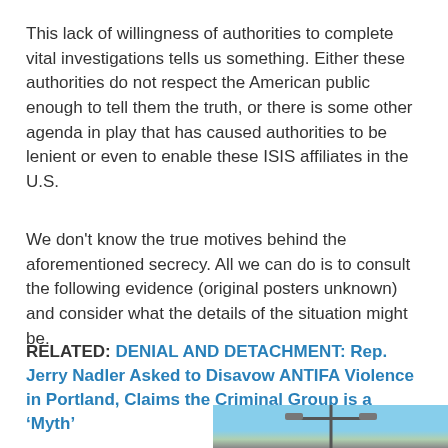This lack of willingness of authorities to complete vital investigations tells us something. Either these authorities do not respect the American public enough to tell them the truth, or there is some other agenda in play that has caused authorities to be lenient or even to enable these ISIS affiliates in the U.S.
We don't know the true motives behind the aforementioned secrecy. All we can do is to consult the following evidence (original posters unknown) and consider what the details of the situation might be.
RELATED: DENIAL AND DETACHMENT: Rep. Jerry Nadler Asked to Disavow ANTIFA Violence in Portland, Claims the Criminal Group is a ‘Myth’
[Figure (photo): Partial photo showing a street light pole against a blue sky background]